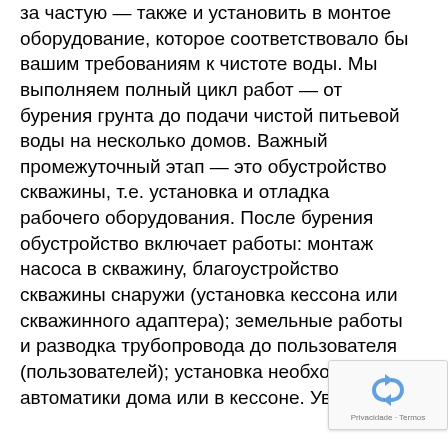за частую — также и установить в монтое оборудование, которое соответствовало бы вашим требованиям к чистоте воды. Мы выполняем полный цикл работ — от бурения грунта до подачи чистой питьевой воды на несколько домов. Важный промежуточный этап — это обустройство скважины, т.е. установка и отладка рабочего оборудования. После бурения обустройство включает работы: монтаж насоса в скважину, благоустройство скважины снаружи (установка кессона или скважинного адаптера); земельные работы и разводка трубопровода до пользователя (пользователей); установка необходимой автоматики дома или в кессоне. Увидимся!
[Figure (other): reCAPTCHA widget with recycling-arrows logo and 'Privacidade - Termos' text]